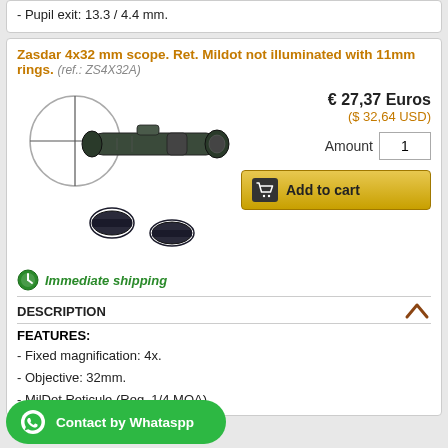- Pupil exit: 13.3 / 4.4 mm.
Zasdar 4x32 mm scope. Ret. Mildot not illuminated with 11mm rings. (ref.: ZS4X32A)
[Figure (photo): Rifle scope 4x32mm with two mounting rings]
€ 27,37 Euros
($ 32,64 USD)
Amount: 1
Add to cart
Immediate shipping
DESCRIPTION
FEATURES:
- Fixed magnification: 4x.
- Objective: 32mm.
- MilDot Reticule (Reg. 1/4 MOA)
Contact by Whataspp